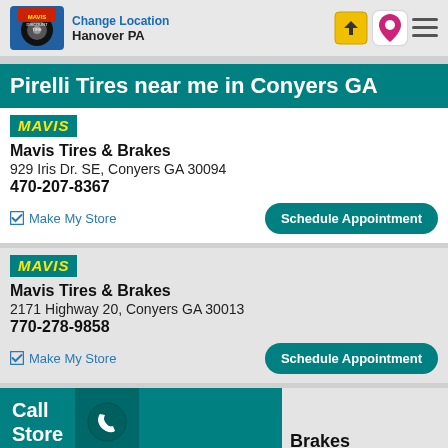Change Location
Hanover PA
Pirelli Tires near me in Conyers GA
Mavis Tires & Brakes
929 Iris Dr. SE, Conyers GA 30094
470-207-8367
Make My Store | Schedule Appointment
Mavis Tires & Brakes
2171 Highway 20, Conyers GA 30013
770-278-9858
Make My Store | Schedule Appointment
Call Store